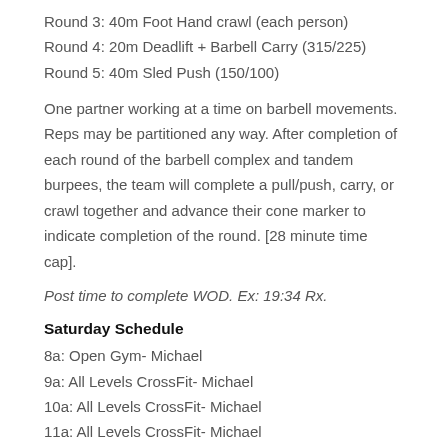Round 3: 40m Foot Hand crawl (each person)
Round 4: 20m Deadlift + Barbell Carry (315/225)
Round 5: 40m Sled Push (150/100)
One partner working at a time on barbell movements. Reps may be partitioned any way. After completion of each round of the barbell complex and tandem burpees, the team will complete a pull/push, carry, or crawl together and advance their cone marker to indicate completion of the round. [28 minute time cap].
Post time to complete WOD. Ex: 19:34 Rx.
Saturday Schedule
8a: Open Gym- Michael
9a: All Levels CrossFit- Michael
10a: All Levels CrossFit- Michael
11a: All Levels CrossFit- Michael